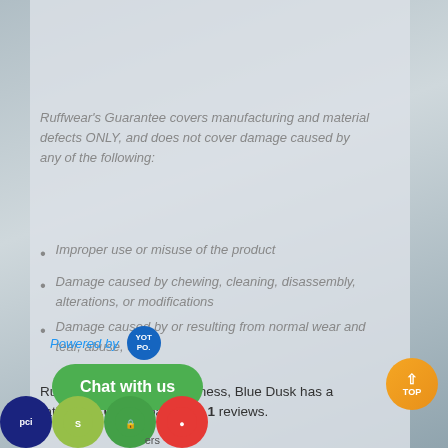Ruffwear's Guarantee covers manufacturing and material defects ONLY, and does not cover damage caused by any of the following:
Improper use or misuse of the product
Damage caused by chewing, cleaning, disassembly, alterations, or modifications
Damage caused by or resulting from normal wear and tear, abuse, or fire
Ruffwear Flagline Dog Harness, Blue Dusk has a rating of 5.0 stars based on 1 reviews.
[Figure (logo): Powered by Yotpo badge, Chat with us button, TOP scroll button, and bottom trust/payment icons (PCI, Shopify, Store, Maps)]